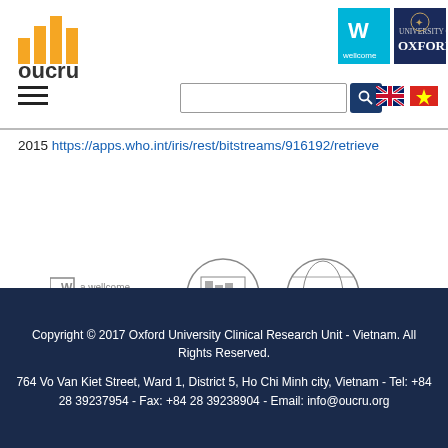[Figure (logo): OUCRU logo with orange/yellow bar chart icon and text 'oucru']
[Figure (logo): Wellcome Trust blue square logo with 'W' and 'wellcome' text]
[Figure (logo): University of Oxford dark blue logo with 'OXFORD' text]
2015 https://apps.who.int/iris/rest/bitstreams/916192/retrieve
[Figure (logo): Wellcome programme grey logo]
[Figure (logo): Vietnamese institution grey circular seal logo]
[Figure (logo): SEAPHD grey circular globe logo]
Copyright © 2017 Oxford University Clinical Research Unit - Vietnam. All Rights Reserved.
764 Vo Van Kiet Street, Ward 1, District 5, Ho Chi Minh city, Vietnam - Tel: +84 28 39237954 - Fax: +84 28 39238904 - Email: info@oucru.org